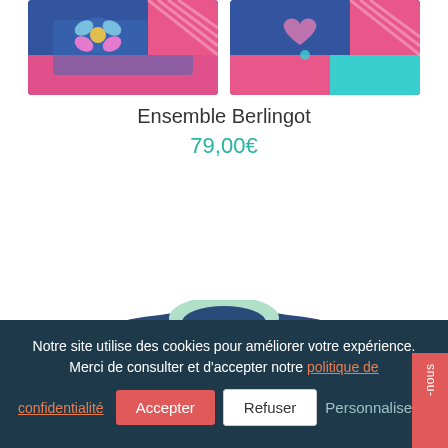[Figure (photo): Two children's clothing items with blue floral/butterfly pattern and pink details, shown side by side at top of page]
Ensemble Berlingot
79,00€
[Figure (photo): Blue navy sweater/top with white dandelion pattern and light mint green collar]
Notre site utilise des cookies pour améliorer votre expérience. Merci de consulter et d'accepter notre politique de confidentialité
Accepter
Refuser
Personnaliser